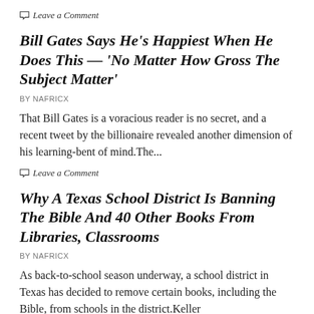Leave a Comment
Bill Gates Says He's Happiest When He Does This — 'No Matter How Gross The Subject Matter'
BY NAFRICX
That Bill Gates is a voracious reader is no secret, and a recent tweet by the billionaire revealed another dimension of his learning-bent of mind.The...
Leave a Comment
Why A Texas School District Is Banning The Bible And 40 Other Books From Libraries, Classrooms
BY NAFRICX
As back-to-school season underway, a school district in Texas has decided to remove certain books, including the Bible, from schools in the district.Keller